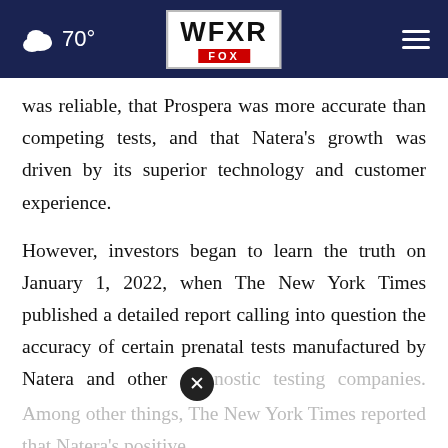70° WFXR FOX
was reliable, that Prospera was more accurate than competing tests, and that Natera's growth was driven by its superior technology and customer experience.
However, investors began to learn the truth on January 1, 2022, when The New York Times published a detailed report calling into question the accuracy of certain prenatal tests manufactured by Natera and other diagnostic testing companies. Among other things, The New York Times reported that Natera's positive